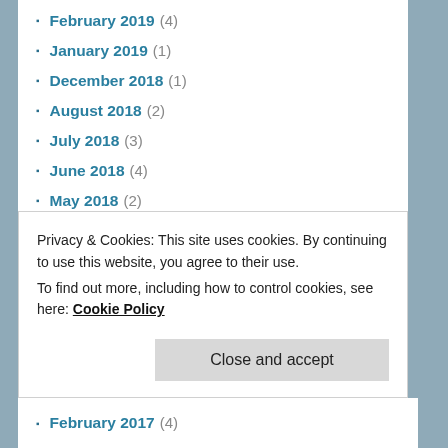February 2019 (4)
January 2019 (1)
December 2018 (1)
August 2018 (2)
July 2018 (3)
June 2018 (4)
May 2018 (2)
April 2018 (1)
March 2018 (5)
February 2018 (2)
January 2018 (1)
December 2017 (2)
October 2017 (1)
September 2017 (4)
Privacy & Cookies: This site uses cookies. By continuing to use this website, you agree to their use. To find out more, including how to control cookies, see here: Cookie Policy
Close and accept
February 2017 (4)